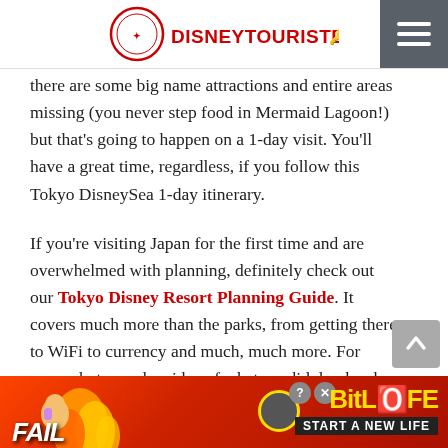DISNEYTOURISTBLOG
there are some big name attractions and entire areas missing (you never step food in Mermaid Lagoon!) but that's going to happen on a 1-day visit. You'll have a great time, regardless, if you follow this Tokyo DisneySea 1-day itinerary.
If you're visiting Japan for the first time and are overwhelmed with planning, definitely check out our Tokyo Disney Resort Planning Guide. It covers much more than the parks, from getting there to WiFi to currency and much, much more. For more photos and an idea of what we did day-by-day during our first visit, read our Tokyo Disney Resort Trip Report.
[Figure (other): BitLife advertisement banner with FAIL text and 'START A NEW LIFE' tagline]